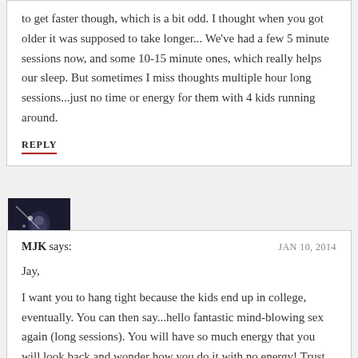to get faster though, which is a bit odd. I thought when you got older it was supposed to take longer... We've had a few 5 minute sessions now, and some 10-15 minute ones, which really helps our sleep. But sometimes I miss thoughts multiple hour long sessions...just no time or energy for them with 4 kids running around.
REPLY
[Figure (photo): Small square avatar photo showing a dark image, possibly a person or nature scene with light source]
MJK says: JAN 10, 2014
Jay,
I want you to hang tight because the kids end up in college, eventually. You can then say...hello fantastic mind-blowing sex again (long sessions). You will have so much energy that you will look back and wonder how you do it with no energy! Trust me!